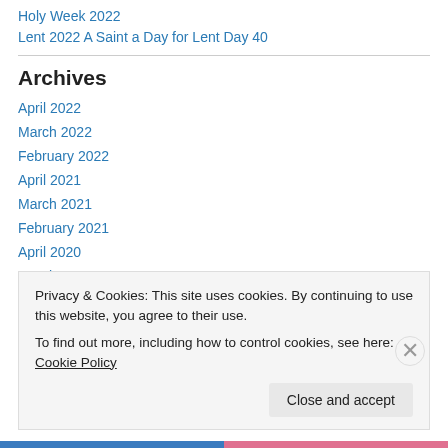Holy Week 2022
Lent 2022 A Saint a Day for Lent Day 40
Archives
April 2022
March 2022
February 2022
April 2021
March 2021
February 2021
April 2020
March 2020
Privacy & Cookies: This site uses cookies. By continuing to use this website, you agree to their use. To find out more, including how to control cookies, see here: Cookie Policy
Close and accept